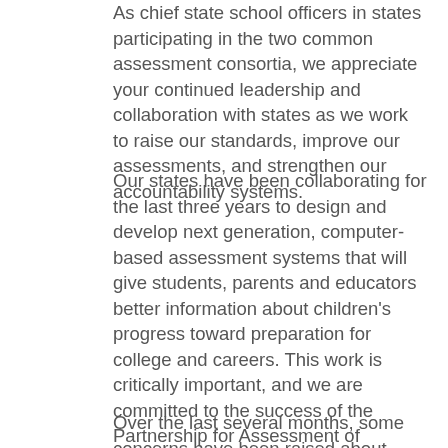As chief state school officers in states participating in the two common assessment consortia, we appreciate your continued leadership and collaboration with states as we work to raise our standards, improve our assessments, and strengthen our accountability systems.
Our states have been collaborating for the last three years to design and develop next generation, computer-based assessment systems that will give students, parents and educators better information about children's progress toward preparation for college and careers. This work is critically important, and we are committed to the success of the Partnership for Assessment of Readiness for College and Careers and the Smarter Balanced Assessment Consortium.
Over the last several months, some concerns have been raised about whether states' transition to the consortia assessments will create new...